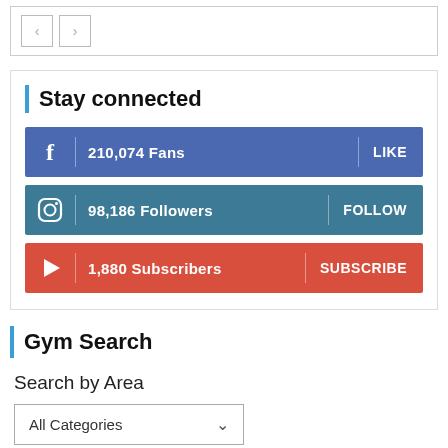[Figure (screenshot): Navigation arrows (back/forward) inside a bordered box]
Stay connected
[Figure (infographic): Social media stats: Facebook 210,074 Fans LIKE; Instagram 98,186 Followers FOLLOW; YouTube 1,880 Subscribers SUBSCRIBE]
Gym Search
Search by Area
[Figure (screenshot): Dropdown selector showing All Categories]